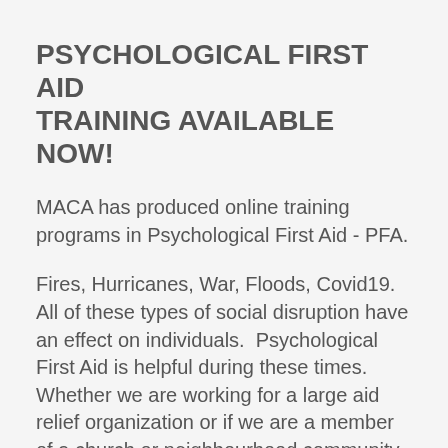PSYCHOLOGICAL FIRST AID TRAINING AVAILABLE NOW!
MACA has produced online training programs in Psychological First Aid - PFA.
Fires, Hurricanes, War, Floods, Covid19.  All of these types of social disruption have an effect on individuals.  Psychological First Aid is helpful during these times.  Whether we are working for a large aid relief organization or if we are a member of a church or neighbourhood community we can provide Psychological First Aid to those in need